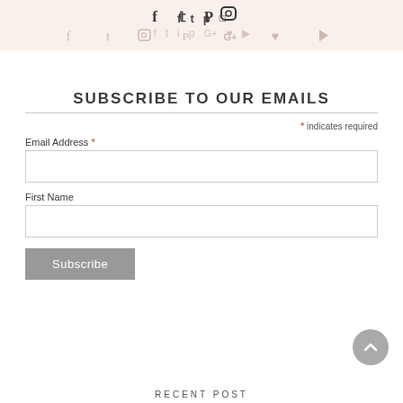[Figure (infographic): Social media icons row: Facebook, Twitter, Pinterest, Instagram shown in dark color on top; below them a wider row of lighter icons: Facebook, Twitter, Instagram, Pinterest, Google+, heart/Bloglovin, YouTube]
SUBSCRIBE TO OUR EMAILS
* indicates required
Email Address *
First Name
Subscribe
RECENT POST